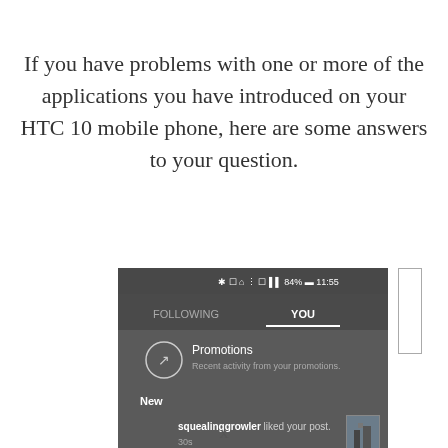If you have problems with one or more of the applications you have introduced on your HTC 10 mobile phone, here are some answers to your question.
[Figure (screenshot): Screenshot of an HTC Android phone showing a social media notifications screen. The status bar shows Bluetooth, phone, WiFi, data icons, 84% battery, and 11:55 time. Below are two tabs: FOLLOWING and YOU (selected). A 'Promotions' section is visible with an arrow icon and subtitle 'Recent activity from your promotions.' Below that is a 'New' label and a notification reading 'squealinggrowler liked your post.' with a timestamp of 30s and a small thumbnail image.]
X